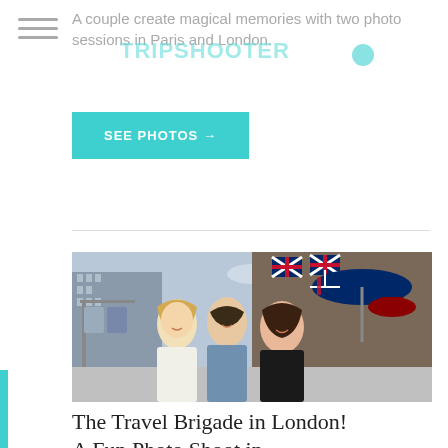A couple create magical memories with two photo sessions in Paris and London.
SEE PHOTOS →
[Figure (photo): Three people (two women and one man) posing together in front of a London souvenir street stall with Union Jack flags, hats, and merchandise. City buildings visible in background.]
The Travel Brigade in London! A Fun Photo Shoot in Westminster